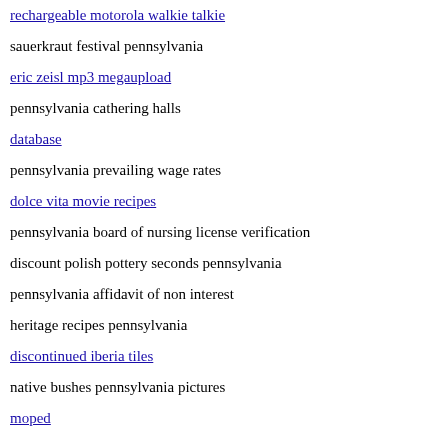rechargeable motorola walkie talkie
sauerkraut festival pennsylvania
eric zeisl mp3 megaupload
pennsylvania cathering halls
database
pennsylvania prevailing wage rates
dolce vita movie recipes
pennsylvania board of nursing license verification
discount polish pottery seconds pennsylvania
pennsylvania affidavit of non interest
heritage recipes pennsylvania
discontinued iberia tiles
native bushes pennsylvania pictures
moped